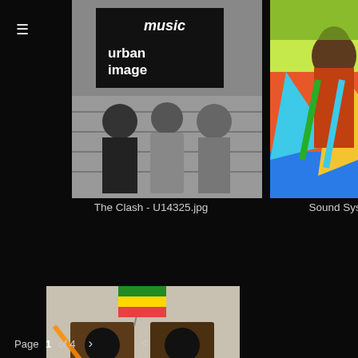[Figure (screenshot): Mobile app screenshot showing a grid of music/urban image photos. Top-left: black and white photo of The Clash band members on steps with 'music urban image' sign. Top-right: colorful photo of carnival dancers. Bottom-left: photo of stacked speaker sound system with person sitting on it. Bottom-right: photo of people sitting in front of Channel One sound system sign.]
The Clash - U14325.jpg
Sound System - U15507.jpg
Sound System - U15504.jpg
Page 1 of 4